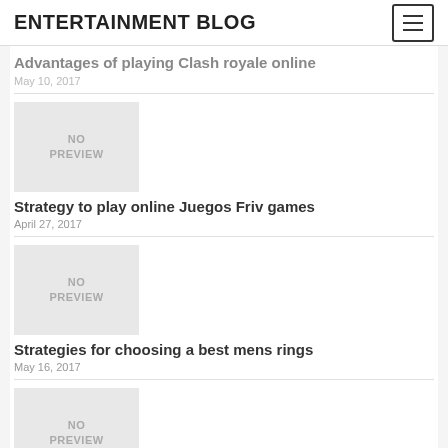ENTERTAINMENT BLOG
Advantages of playing Clash royale online
May 10, 2017
[Figure (illustration): No preview image placeholder box]
Strategy to play online Juegos Friv games
April 27, 2017
[Figure (illustration): No preview image placeholder box]
Strategies for choosing a best mens rings
May 16, 2017
[Figure (illustration): No preview image placeholder box]